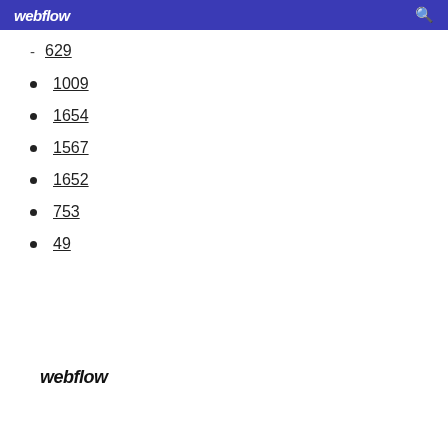webflow
629
1009
1654
1567
1652
753
49
webflow